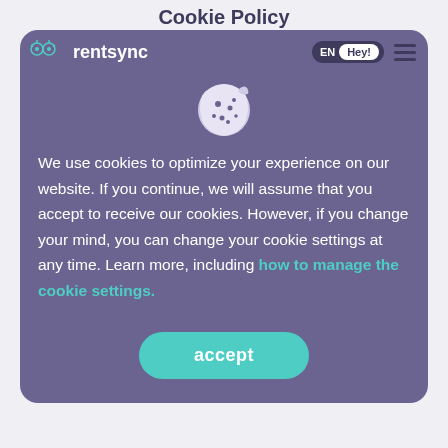Cookie Policy
[Figure (screenshot): Website navigation bar with rentsync logo on the left and EN/Hey! language toggle and hamburger menu on the right]
[Figure (illustration): Cookie icon — circular cookie with chocolate chip dots and a bite taken out of upper right]
We use cookies to optimize your experience on our website. If you continue, we will assume that you accept to receive our cookies. However, if you change your mind, you can change your cookie settings at any time. Learn more, including how to manage the cookie settings.
accept